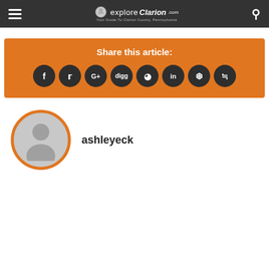exploreClarion.com — Your Guide To Clarion County, Pennsylvania
[Figure (infographic): Orange share box with label 'Share this article:' and 8 social media icon buttons: Facebook, Twitter, Google+, Digg, Reddit, LinkedIn, Pinterest, StumbleUpon]
[Figure (illustration): Generic user avatar silhouette in a circle with orange border]
ashleyeck